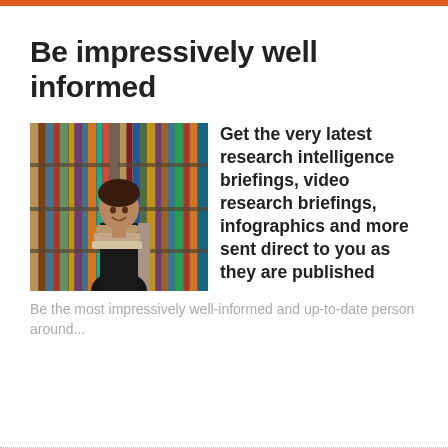Be impressively well informed
[Figure (photo): Young woman smiling in a library aisle holding a stack of books, surrounded by bookshelves full of colorful books]
Get the very latest research intelligence briefings, video research briefings, infographics and more sent direct to you as they are published
Be the most impressively well-informed and up-to-date person around...